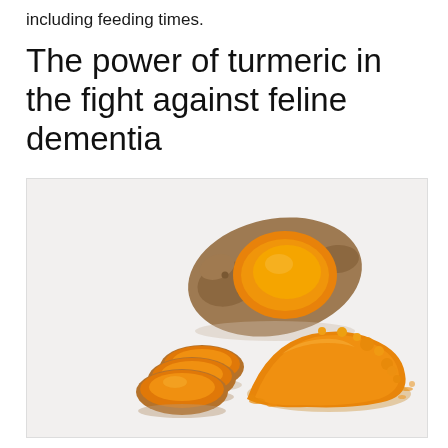including feeding times.
The power of turmeric in the fight against feline dementia
[Figure (photo): A turmeric root cut open showing bright orange interior, alongside three sliced rounds of turmeric root and a pile of orange turmeric powder, on a white background.]